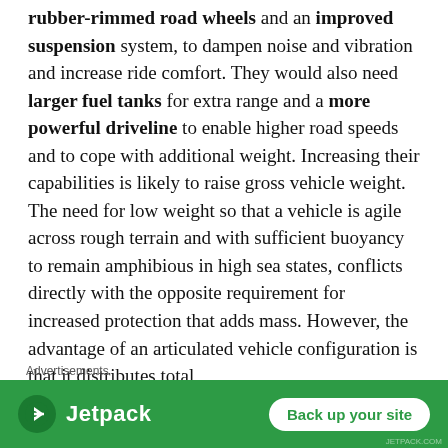rubber-rimmed road wheels and an improved suspension system, to dampen noise and vibration and increase ride comfort. They would also need larger fuel tanks for extra range and a more powerful driveline to enable higher road speeds and to cope with additional weight. Increasing their capabilities is likely to raise gross vehicle weight. The need for low weight so that a vehicle is agile across rough terrain and with sufficient buoyancy to remain amphibious in high sea states, conflicts directly with the opposite requirement for increased protection that adds mass. However, the advantage of an articulated vehicle configuration is that it distributes total
Advertisements
[Figure (other): Jetpack advertisement banner with green background, Jetpack logo on left and 'Back up your site' button on right]